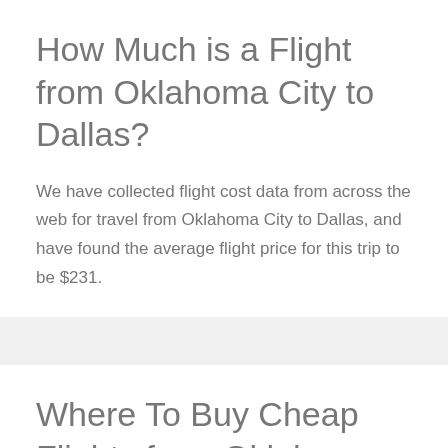How Much is a Flight from Oklahoma City to Dallas?
We have collected flight cost data from across the web for travel from Oklahoma City to Dallas, and have found the average flight price for this trip to be $231.
Where To Buy Cheap Flights from Oklahoma City to Dallas?